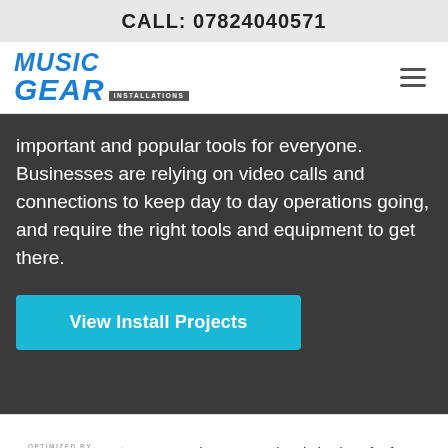CALL: 07824040571
[Figure (logo): Music Gear Installations logo with blue italic text and gray installations badge, with hamburger menu icon on right]
important and popular tools for everyone. Businesses are relying on video calls and connections to keep day to day operations going, and require the right tools and equipment to get there.
View Install Projects
[Figure (logo): NitroPack.io speed optimization logo with green arc/speedometer icon]
Automated page speed optimizations for fast site performance